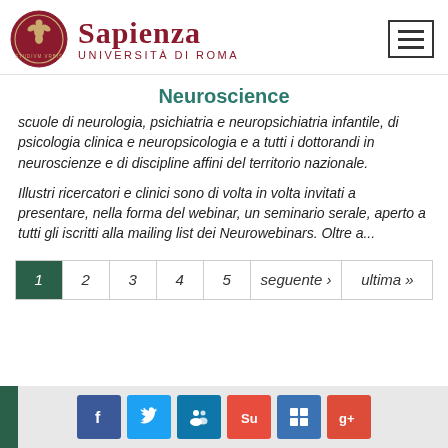[Figure (logo): Sapienza Università di Roma logo with circular emblem and text]
Neuroscience
scuole di neurologia, psichiatria e neuropsichiatria infantile, di psicologia clinica e neuropsicologia e a tutti i dottorandi in neuroscienze e di discipline affini del territorio nazionale.
Illustri ricercatori e clinici sono di volta in volta invitati a presentare, nella forma del webinar, un seminario serale, aperto a tutti gli iscritti alla mailing list dei Neurowebinars. Oltre a...
1  2  3  4  5  seguente ›  ultima »
[Figure (infographic): Social media icons: Facebook, Twitter, LinkedIn, StumbleUpon, Delicious, Google+]